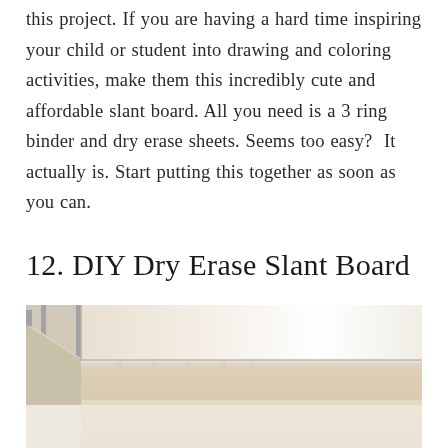this project. If you are having a hard time inspiring your child or student into drawing and coloring activities, make them this incredibly cute and affordable slant board. All you need is a 3 ring binder and dry erase sheets. Seems too easy?  It actually is. Start putting this together as soon as you can.
12. DIY Dry Erase Slant Board
[Figure (photo): Close-up photograph of a DIY slant board (a binder lying flat on a wooden table), showing the white smooth surface of the slant board with wooden table and blurred chairs/room in the background.]